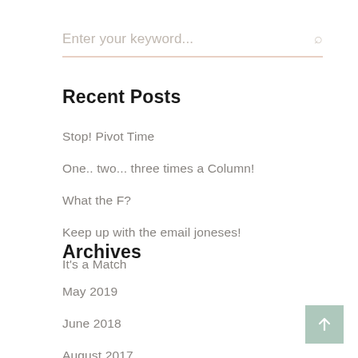Enter your keyword...
Recent Posts
Stop! Pivot Time
One.. two... three times a Column!
What the F?
Keep up with the email joneses!
It's a Match
Archives
May 2019
June 2018
August 2017